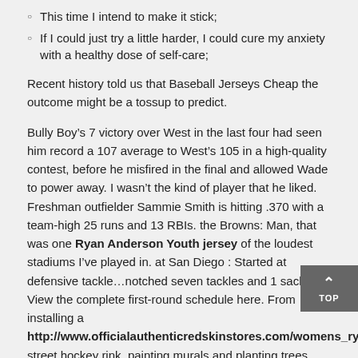This time I intend to make it stick;
If I could just try a little harder, I could cure my anxiety with a healthy dose of self-care;
Recent history told us that Baseball Jerseys Cheap the outcome might be a tossup to predict.
Bully Boy’s 7 victory over West in the last four had seen him record a 107 average to West’s 105 in a high-quality contest, before he misfired in the final and allowed Wade to power away. I wasn’t the kind of player that he liked. Freshman outfielder Sammie Smith is hitting .370 with a team-high 25 runs and 13 RBIs. the Browns: Man, that was one Ryan Anderson Youth jersey of the loudest stadiums I’ve played in. at San Diego : Started at defensive tackle…notched seven tackles and 1 sack… View the complete first-round schedule here. From installing a http://www.officialauthenticredskinstores.com/womens_ryan_anderson street hockey rink, painting murals and planting trees, the Power